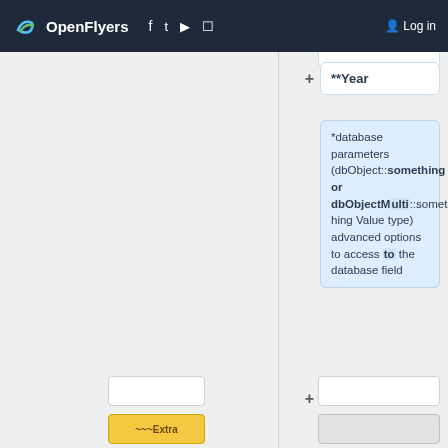OpenFlyers — Log in
**Year
*database parameters (dbObject::something or dbObjectMulti::something Value type) advanced options to access to the database field